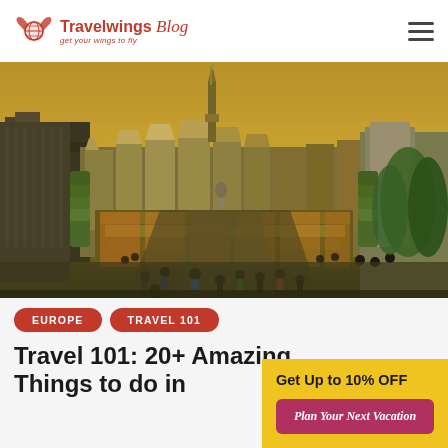Travelwings Blog — get your wings to fly
[Figure (photo): Aerial panoramic view of Brussels city center with Mont des Arts gardens, ornate historic buildings, the Town Hall spire, and tourists in foreground under a golden-orange sky]
EUROPE
TRAVEL 101
Travel 101: 20+ Amazing Things to do in
Get Up to 10% OFF
Plan Your Next Vacation